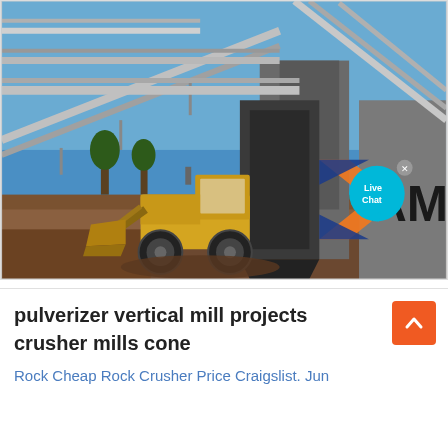[Figure (photo): Industrial mining facility photo showing conveyor belts, large machinery, a yellow front loader/wheel loader on a dirt ground, with a blue sky background. Overlaid with a 'Live Chat' cyan speech bubble with an X close button. Bottom-right shows an orange and blue angular logo with letters 'AM'.]
pulverizer vertical mill projects crusher mills cone
Rock Cheap Rock Crusher Price Craigslist. Jun